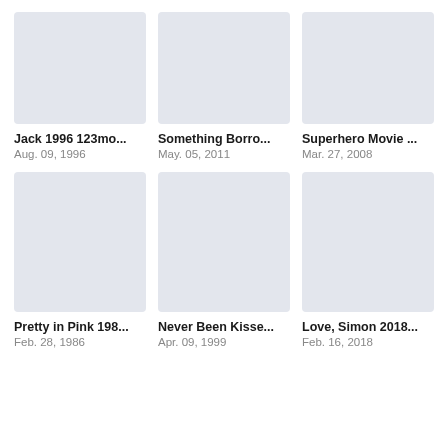[Figure (illustration): Placeholder movie thumbnail (light blue-grey rectangle) for Jack 1996]
Jack 1996 123mo...
Aug. 09, 1996
[Figure (illustration): Placeholder movie thumbnail (light blue-grey rectangle) for Something Borro...]
Something Borro...
May. 05, 2011
[Figure (illustration): Placeholder movie thumbnail (light blue-grey rectangle) for Superhero Movie ...]
Superhero Movie ...
Mar. 27, 2008
[Figure (illustration): Placeholder movie thumbnail (light blue-grey rectangle) for Pretty in Pink 198...]
Pretty in Pink 198...
Feb. 28, 1986
[Figure (illustration): Placeholder movie thumbnail (light blue-grey rectangle) for Never Been Kisse...]
Never Been Kisse...
Apr. 09, 1999
[Figure (illustration): Placeholder movie thumbnail (light blue-grey rectangle) for Love, Simon 2018...]
Love, Simon 2018...
Feb. 16, 2018